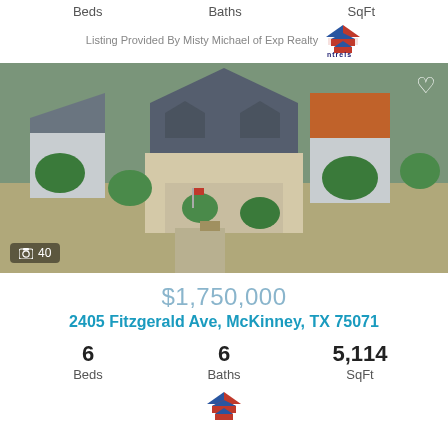Beds   Baths   SqFt
Listing Provided By Misty Michael of Exp Realty ntrels
[Figure (photo): Aerial view of a large two-story residential home with grey roofs in a suburban neighborhood with green trees, neighboring houses visible. Camera icon and '40' overlay in lower left corner. Heart icon in upper right corner.]
$1,750,000
2405 Fitzgerald Ave, McKinney, TX 75071
6 Beds   6 Baths   5,114 SqFt